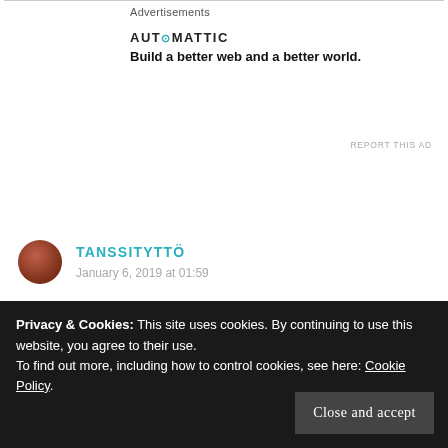Advertisements
[Figure (logo): Automattic logo with tagline: Build a better web and a better world.]
REPORT THIS AD
TANSSITYTTÖ
January 6, 2019 at 01:59
I would take the job with my passion rather than the good salary. Or it depends the alternatives I have. If I should choose either dream job or ok job with good salary, I would
Privacy & Cookies: This site uses cookies. By continuing to use this website, you agree to their use.
To find out more, including how to control cookies, see here: Cookie Policy
Close and accept